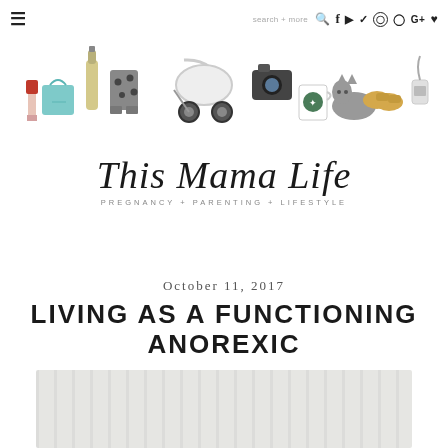≡  search + more  🔍  f  ▶  𝕏  ◻  ⊕  G+  ♥
[Figure (illustration): Blog logo illustration with watercolor items: baby stroller, lipstick, teal bag, champagne bottle, polka dot pants, camera, coffee cup, cat, baby shoes, phone. Script text reads 'This Mama Life' with tagline 'PREGNANCY + PARENTING + LIFESTYLE'.]
October 11, 2017
LIVING AS A FUNCTIONING ANOREXIC
[Figure (photo): Light wood grain background image, partially visible at bottom of page.]